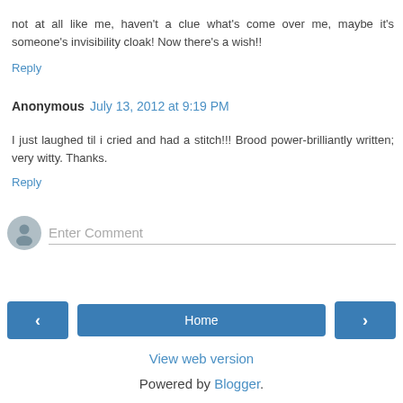not at all like me, haven't a clue what's come over me, maybe it's someone's invisibility cloak! Now there's a wish!!
Reply
Anonymous July 13, 2012 at 9:19 PM
I just laughed til i cried and had a stitch!!! Brood power- brilliantly written; very witty. Thanks.
Reply
Enter Comment
Home
View web version
Powered by Blogger.